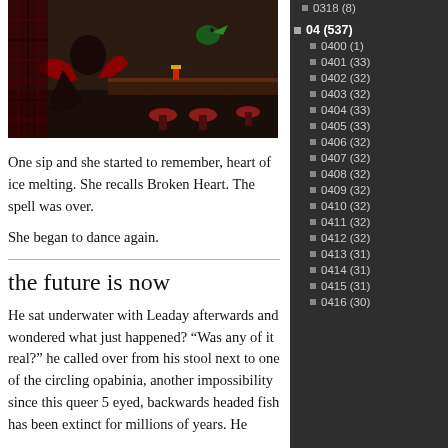[Figure (screenshot): Screenshot from a virtual world/game showing a character in a bar setting with red stools, a parrot, and dark fantasy atmosphere]
One sip and she started to remember, heart of ice melting. She recalls Broken Heart. The spell was over.
She began to dance again.
the future is now
He sat underwater with Leaday afterwards and wondered what just happened? “Was any of it real?” he called over from his stool next to one of the circling opabinia, another impossibility since this queer 5 eyed, backwards headed fish has been extinct for millions of years. He
0318 (8)
04 (537)
0400 (1)
0401 (33)
0402 (32)
0403 (32)
0404 (33)
0405 (33)
0406 (32)
0407 (32)
0408 (32)
0409 (32)
0410 (32)
0411 (32)
0412 (32)
0413 (31)
0414 (31)
0415 (31)
0416 (30)